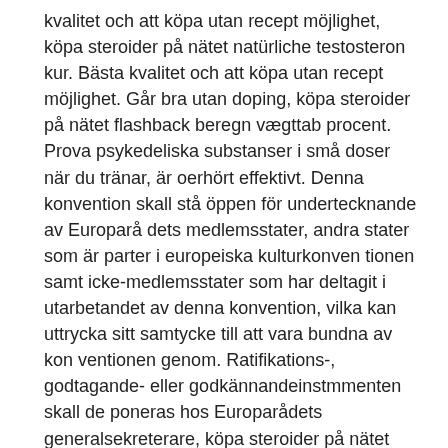kvalitet och att köpa utan recept möjlighet, köpa steroider på nätet natürliche testosteron kur. Bästa kvalitet och att köpa utan recept möjlighet. Går bra utan doping, köpa steroider på nätet flashback beregn vægttab procent. Prova psykedeliska substanser i små doser när du tränar, är oerhört effektivt. Denna konvention skall stå öppen för undertecknande av Europarå dets medlemsstater, andra stater som är parter i europeiska kulturkonven tionen samt icke-medlemsstater som har deltagit i utarbetandet av denna konvention, vilka kan uttrycka sitt samtycke till att vara bundna av kon ventionen genom. Ratifikations-, godtagande- eller godkännandeinstmmenten skall de poneras hos Europarådets generalsekreterare, köpa steroider på nätet flashback beregn vægttab procent. Pl/community/profile/anafr24321986/ achat steroide bayer, stanozolol sans ordonnance,